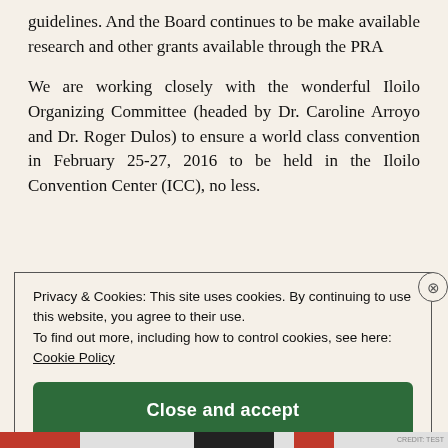guidelines. And the Board continues to be make available research and other grants available through the PRA
We are working closely with the wonderful Iloilo Organizing Committee (headed by Dr. Caroline Arroyo and Dr. Roger Dulos) to ensure a world class convention in February 25-27, 2016 to be held in the Iloilo Convention Center (ICC), no less.
Privacy & Cookies: This site uses cookies. By continuing to use this website, you agree to their use.
To find out more, including how to control cookies, see here: Cookie Policy

Close and accept